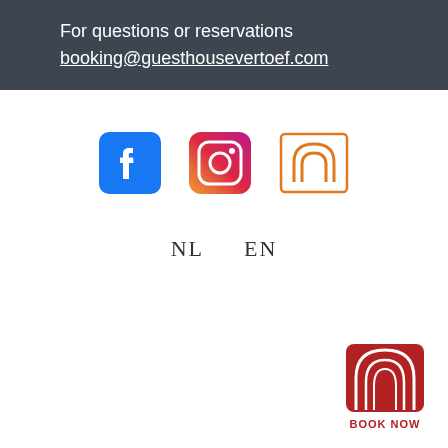For questions or reservations
booking@guesthousevertoef.com
[Figure (logo): Three social media icons: Facebook (blue square with white f), Instagram (gradient camera icon), and a custom arch/house icon in orange outline]
NL   EN
[Figure (logo): Red filled arch/house logo with white arch outline inside, labeled BOOK NOW in red text below]